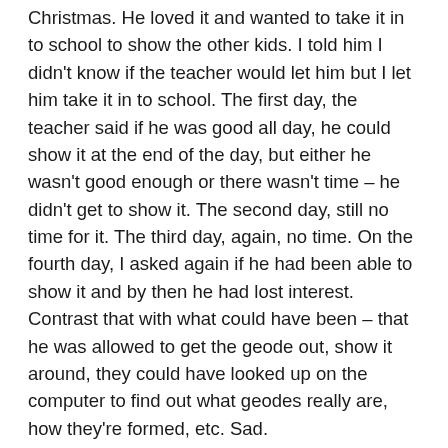Christmas. He loved it and wanted to take it in to school to show the other kids. I told him I didn't know if the teacher would let him but I let him take it in to school. The first day, the teacher said if he was good all day, he could show it at the end of the day, but either he wasn't good enough or there wasn't time – he didn't get to show it. The second day, still no time for it. The third day, again, no time. On the fourth day, I asked again if he had been able to show it and by then he had lost interest. Contrast that with what could have been – that he was allowed to get the geode out, show it around, they could have looked up on the computer to find out what geodes really are, how they're formed, etc. Sad.
I have two bright boys – my older son hated school until we finally sent him to private school for middle